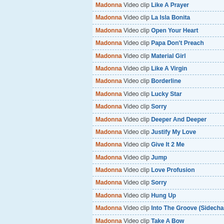Madonna Video clip Like A Prayer
Madonna Video clip La Isla Bonita
Madonna Video clip Open Your Heart
Madonna Video clip Papa Don't Preach
Madonna Video clip Material Girl
Madonna Video clip Like A Virgin
Madonna Video clip Borderline
Madonna Video clip Lucky Star
Madonna Video clip Sorry
Madonna Video clip Deeper And Deeper
Madonna Video clip Justify My Love
Madonna Video clip Give It 2 Me
Madonna Video clip Jump
Madonna Video clip Love Profusion
Madonna Video clip Sorry
Madonna Video clip Hung Up
Madonna Video clip Into The Groove (Sidechains
Madonna Video clip Take A Bow
Madonna Video clip Like A Virgin